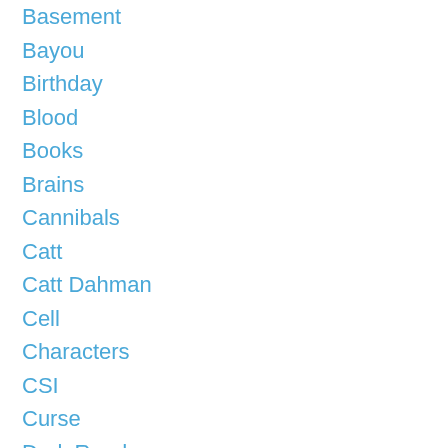Basement
Bayou
Birthday
Blood
Books
Brains
Cannibals
Catt
Catt Dahman
Cell
Characters
CSI
Curse
Dark Road
Dinosaur: 65 Million
Dinosaurs
Doc Holliday
Dominance
Double Crap
Dragon Fly
East Texas